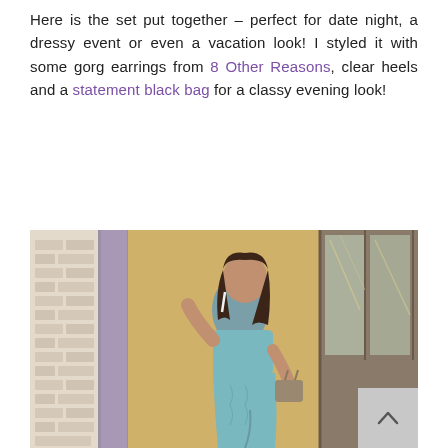Here is the set put together – perfect for date night, a dressy event or even a vacation look! I styled it with some gorg earrings from 8 Other Reasons, clear heels and a statement black bag for a classy evening look!
[Figure (photo): A woman wearing a light blue two-piece set (crop top and ruched skirt) posing outdoors near a building with glass doors and a purple column, holding a bag.]